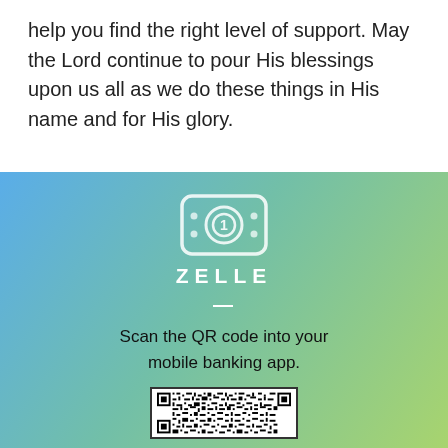help you find the right level of support. May the Lord continue to pour His blessings upon us all as we do these things in His name and for His glory.
[Figure (infographic): Zelle payment section with gradient blue-green background, dollar bill icon, ZELLE text, divider line, instruction to scan QR code, and a QR code image at the bottom.]